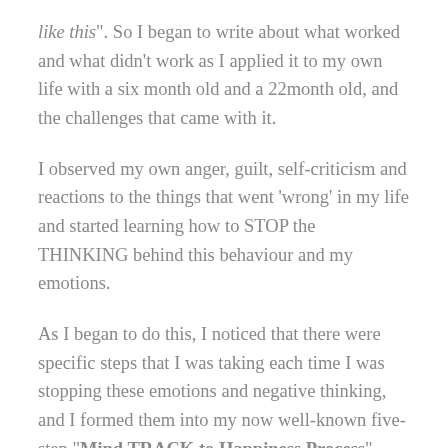like this". So I began to write about what worked and what didn't work as I applied it to my own life with a six month old and a 22month old, and the challenges that came with it.
I observed my own anger, guilt, self-criticism and reactions to the things that went 'wrong' in my life and started learning how to STOP the THINKING behind this behaviour and my emotions.
As I began to do this, I noticed that there were specific steps that I was taking each time I was stopping these emotions and negative thinking, and I formed them into my now well-known five-step "Mind TRACK to Happiness Process".